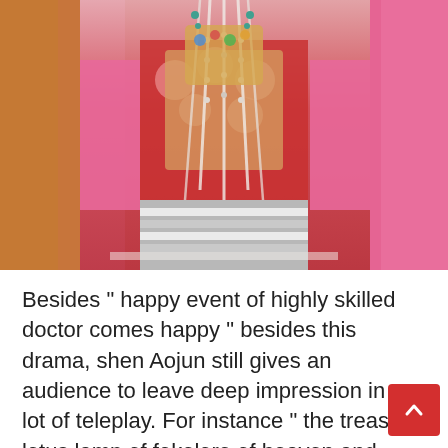[Figure (photo): A person wearing traditional Chinese/Tibetan colorful costume with elaborate beaded necklaces, red floral garments, and decorative accessories. Partially visible person in orange robe on the left and pink outfit on the right.]
Besides " happy event of highly skilled doctor comes happy " besides this drama, shen Aojun still gives an audience to leave deep impression in a lot of teleplay. For instance " the treasure lotus lamp of fokelore of heaven and earth " step snow, " big Tang Qing history " Gao Yang's princess, " lofty ideal great ambition " Liu cocoa, " the real situation that cannot feel " beautiful Hui Zi, " close do not have on the west extremely knife " plum woman, " 4 names catch a bottle of general " Zhu Geqing is green, "